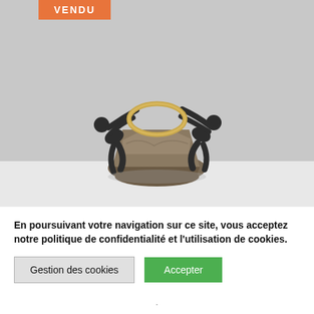[Figure (photo): A bronze sculpture of two human figures leaning back and holding a golden/brass ring between them, mounted on a rough stone base. Background is light gray. An orange 'VENDU' (sold) badge is visible at top left of the photo area.]
En poursuivant votre navigation sur ce site, vous acceptez notre politique de confidentialité et l'utilisation de cookies.
Gestion des cookies
Accepter